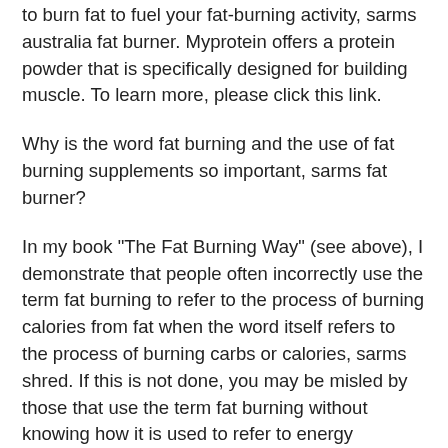to burn fat to fuel your fat-burning activity, sarms australia fat burner. Myprotein offers a protein powder that is specifically designed for building muscle. To learn more, please click this link.
Why is the word fat burning and the use of fat burning supplements so important, sarms fat burner?
In my book "The Fat Burning Way" (see above), I demonstrate that people often incorrectly use the term fat burning to refer to the process of burning calories from fat when the word itself refers to the process of burning carbs or calories, sarms shred. If this is not done, you may be misled by those that use the term fat burning without knowing how it is used to refer to energy production from muscle tissue (when used as a method of energy expenditure). A person's body is literally a furnace that burns calories by